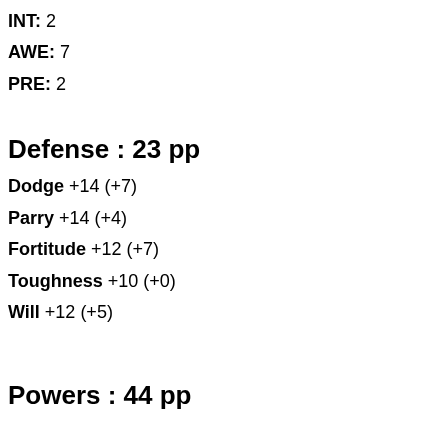INT: 2
AWE: 7
PRE: 2
Defense : 23 pp
Dodge +14 (+7)
Parry +14 (+4)
Fortitude +12 (+7)
Toughness +10 (+0)
Will +12 (+5)
Powers : 44 pp